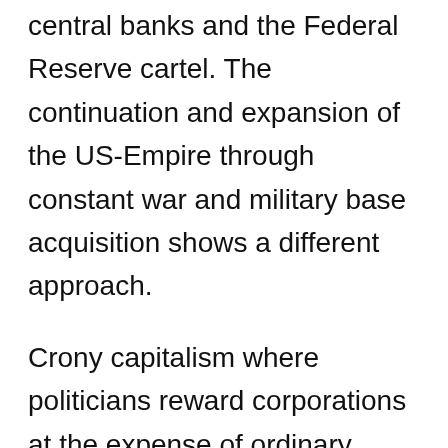central banks and the Federal Reserve cartel. The continuation and expansion of the US-Empire through constant war and military base acquisition shows a different approach.
Crony capitalism where politicians reward corporations at the expense of ordinary people, is nothing else as plain fascism, just to mention this side of corruption. Real choice is the power to have a say in the direction of society, not what material variety people have as a consumer.
National Debt is not existent, it is Fake